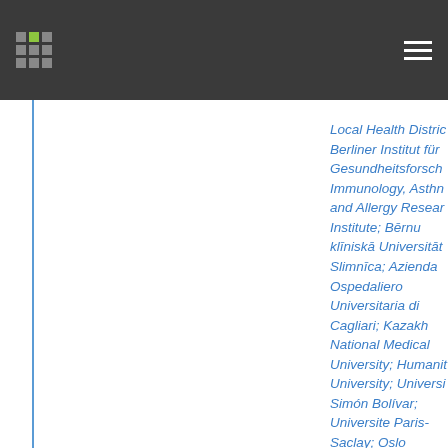Navigation bar with logo and menu
Local Health District; Berliner Institut für Gesundheitsforschung; Immunology, Asthma and Allergy Research Institute; Bērnu klīniskā Universitātes Slimnīca; Azienda Ospedaliero Universitaria di Cagliari; Kazakh National Medical University; Humanit University; Universi Simón Bolívar; Universite Paris-Saclay; Oslo Universitetssykehus; Skin and Allergy Hospital; Clínica